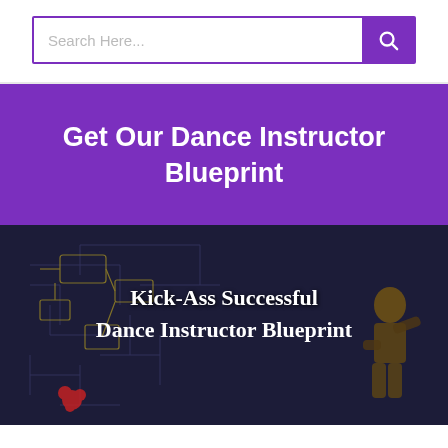[Figure (other): Search bar with text input 'Search Here...' and a purple search button with magnifying glass icon]
Get Our Dance Instructor Blueprint
[Figure (photo): Dark blue circuit board background image with text 'Kick-Ass Successful Dance Instructor Blueprint' overlaid in white, with a dancer figure visible on the right side]